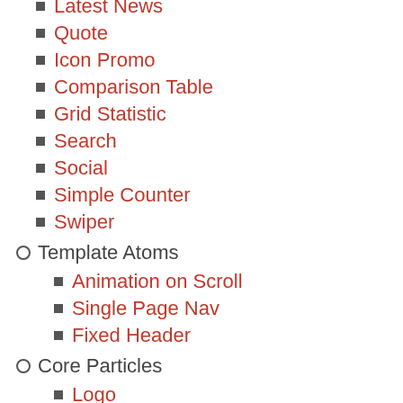Latest News
Quote
Icon Promo
Comparison Table
Grid Statistic
Search
Social
Simple Counter
Swiper
Template Atoms
Animation on Scroll
Single Page Nav
Fixed Header
Core Particles
Logo
Menu
To Top